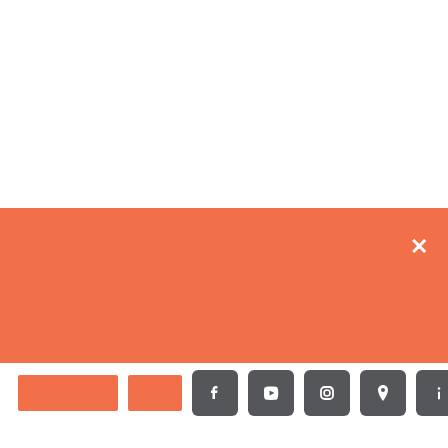[Figure (screenshot): White empty area at top of page, part of a web UI screenshot]
[Figure (screenshot): Orange/salmon colored banner/modal bar with a white X close button in the upper right corner]
[Figure (screenshot): Toolbar row with two orange rectangular buttons and five dark gray rounded square icon buttons: Facebook, YouTube, Instagram, location pin, and info icons]
[Figure (screenshot): White gap area below toolbar]
[Figure (screenshot): Black bar at the bottom of the page, part of a UI or media player element]